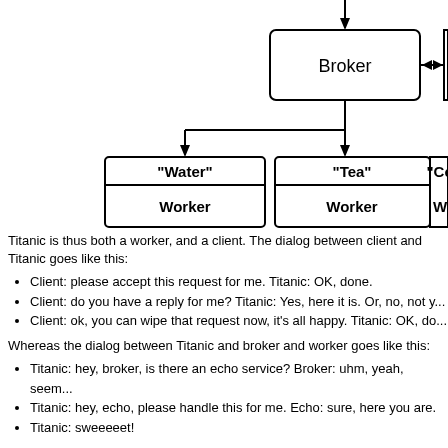[Figure (flowchart): Diagram showing a Broker node connected via double-headed arrow to another node (partially visible on right). Below the Broker, arrows point down to three Worker nodes labeled 'Water', 'Tea', and 'Co...' (partially visible). Arrows from the Broker connect down to the Tea Worker and to the Water Worker via a branching line.]
Titanic is thus both a worker, and a client. The dialog between client and Titanic goes like this:
Client: please accept this request for me. Titanic: OK, done.
Client: do you have a reply for me? Titanic: Yes, here it is. Or, no, not yet.
Client: ok, you can wipe that request now, it's all happy. Titanic: OK, done.
Whereas the dialog between Titanic and broker and worker goes like this:
Titanic: hey, broker, is there an echo service? Broker: uhm, yeah, seems like.
Titanic: hey, echo, please handle this for me. Echo: sure, here you are.
Titanic: sweeeeet!